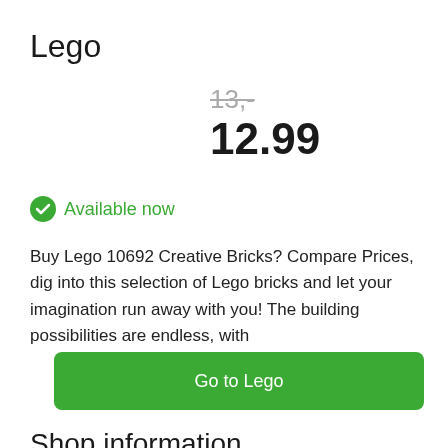Lego
13,-
12.99
Available now
Buy Lego 10692 Creative Bricks? Compare Prices, dig into this selection of Lego bricks and let your imagination run away with you! The building possibilities are endless, with
Go to Lego
Shop information
Shipping costs: free shipping from 50,-